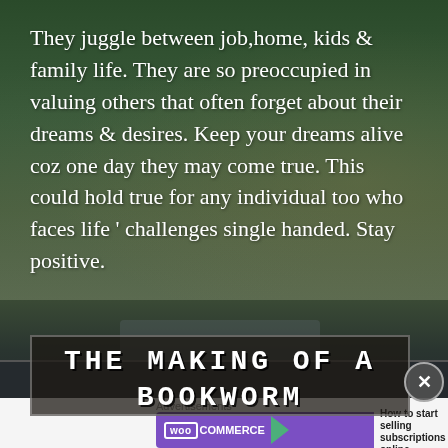They juggle between job,home, kids & family life. They are so preoccupied in valuing others that often forget about their dreams & desires. Keep your dreams alive coz one day they may come true. This could hold true for any individual too who faces life ' challenges single handed. Stay positive.
[Figure (photo): Dark green and brown blurred background with clouds or foliage, forming the lower portion of a decorative blog-style page background]
THE MAKING OF A BOOKWORM
Advertisements
[Figure (other): WooCommerce advertisement banner with purple background, green arrow, and text 'How to start selling subscriptions online']